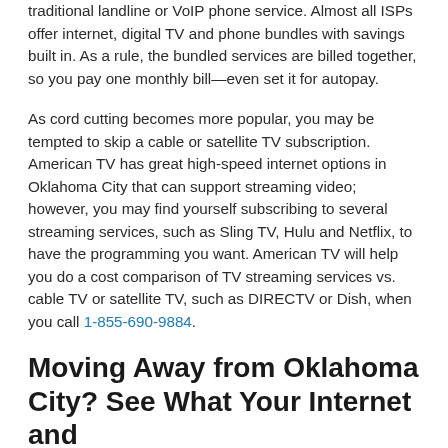traditional landline or VoIP phone service. Almost all ISPs offer internet, digital TV and phone bundles with savings built in. As a rule, the bundled services are billed together, so you pay one monthly bill—even set it for autopay.
As cord cutting becomes more popular, you may be tempted to skip a cable or satellite TV subscription. American TV has great high-speed internet options in Oklahoma City that can support streaming video; however, you may find yourself subscribing to several streaming services, such as Sling TV, Hulu and Netflix, to have the programming you want. American TV will help you do a cost comparison of TV streaming services vs. cable TV or satellite TV, such as DIRECTV or Dish, when you call 1-855-690-9884.
Moving Away from Oklahoma City? See What Your Internet and